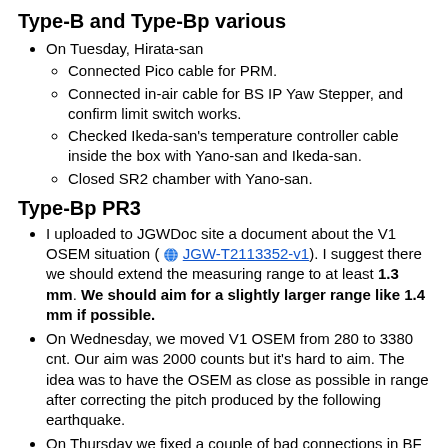Type-B and Type-Bp various
On Tuesday, Hirata-san
Connected Pico cable for PRM.
Connected in-air cable for BS IP Yaw Stepper, and confirm limit switch works.
Checked Ikeda-san's temperature controller cable inside the box with Yano-san and Ikeda-san.
Closed SR2 chamber with Yano-san.
Type-Bp PR3
I uploaded to JGWDoc site a document about the V1 OSEM situation (🌐 JGW-T2113352-v1). I suggest there we should extend the measuring range to at least 1.3 mm. We should aim for a slightly larger range like 1.4 mm if possible.
On Wednesday, we moved V1 OSEM from 280 to 3380 cnt. Our aim was 2000 counts but it's hard to aim. The idea was to have the OSEM as close as possible in range after correcting the pitch produced by the following earthquake.
On Thursday we fixed a couple of bad connections in BF Damper LVDTs.